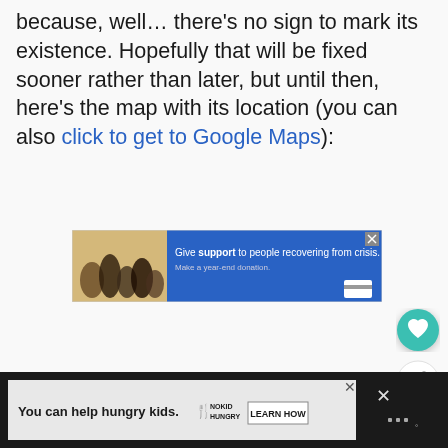because, well... there's no sign to mark its existence. Hopefully that will be fixed sooner rather than later, but until then, here's the map with its location (you can also click to get to Google Maps):
[Figure (other): Advertisement banner: image of a family on left, blue background on right with text 'Give support to people recovering from crisis. Make a year-end donation.' with a close X button and credit card icon.]
[Figure (other): Two floating action buttons on right side: teal heart/favorite button and white share button]
[Figure (other): Bottom advertisement bar on dark background: 'You can help hungry kids.' with No Kid Hungry logo and Learn How button, with X close button. Right side shows additional close X and menu icons.]